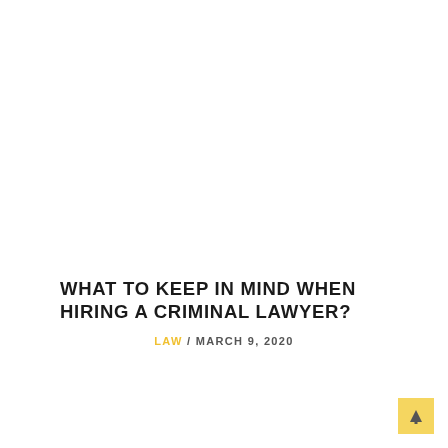WHAT TO KEEP IN MIND WHEN HIRING A CRIMINAL LAWYER?
LAW / MARCH 9, 2020